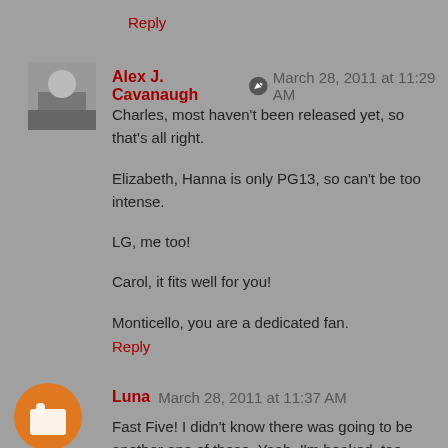Reply
Alex J. Cavanaugh  March 28, 2011 at 11:29 AM
Charles, most haven't been released yet, so that's all right.

Elizabeth, Hanna is only PG13, so can't be too intense.

LG, me too!

Carol, it fits well for you!

Monticello, you are a dedicated fan.
Reply
Luna  March 28, 2011 at 11:37 AM
Fast Five! I didn't know there was going to be another one of these. Yeah, I'm hooked, too. Must have something to do with Paul Walker.